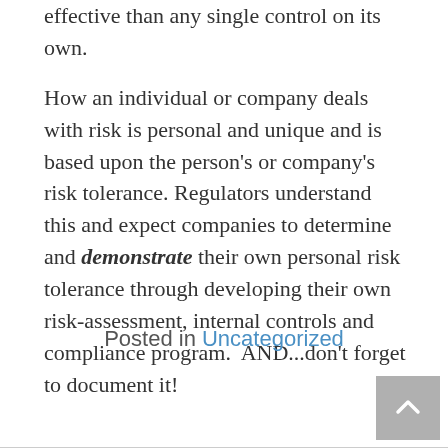effective than any single control on its own. How an individual or company deals with risk is personal and unique and is based upon the person's or company's risk tolerance. Regulators understand this and expect companies to determine and demonstrate their own personal risk tolerance through developing their own risk-assessment, internal controls and compliance program. AND...don't forget to document it!
Posted in Uncategorized